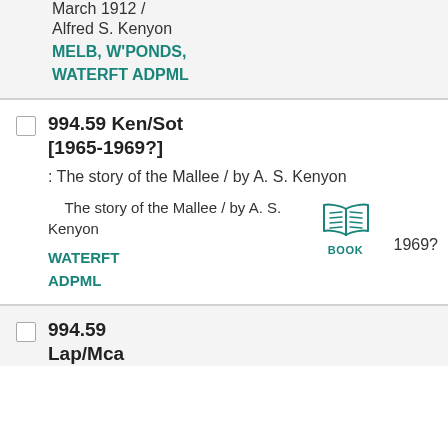March 1912 /
Alfred S. Kenyon
MELB, W'PONDS, WATERFT ADPML
994.59 Ken/Sot [1965-1969?]
: The story of the Mallee / by A. S. Kenyon
The story of the Mallee / by A. S. Kenyon
WATERFT
ADPML
BOOK 1969?
994.59 Lap/Mca